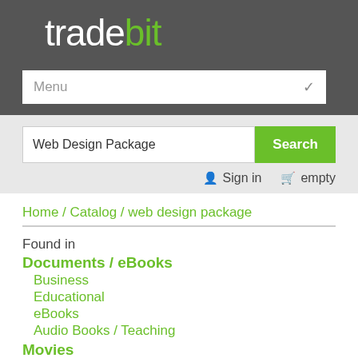tradebit
Menu
Web Design Package
Search
Sign in   empty
Home / Catalog / web design package
Found in
Documents / eBooks
Business
Educational
eBooks
Audio Books / Teaching
Movies
Educational
Video Tutorials
Music
MP3 (all)